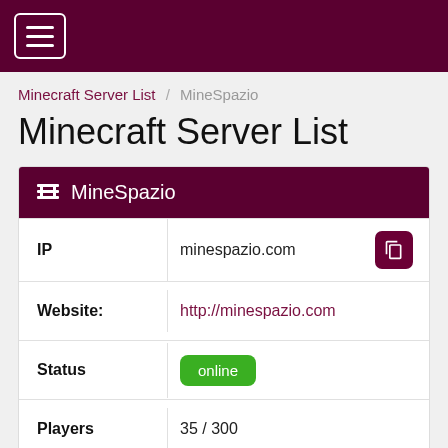☰
Minecraft Server List / MineSpazio
Minecraft Server List
| Field | Value |
| --- | --- |
| IP | minespazio.com |
| Website: | http://minespazio.com |
| Status | online |
| Players | 35 / 300 |
| Version | 1.18 |